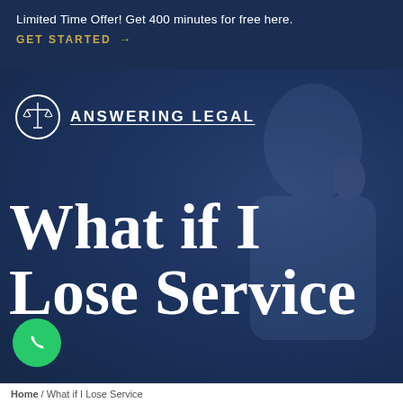Limited Time Offer! Get 400 minutes for free here. GET STARTED →
[Figure (logo): Answering Legal logo with scales of justice icon in circle and text ANSWERING LEGAL]
What if I Lose Service
[Figure (other): Green phone/call button circle icon]
Home / What if I Lose Service